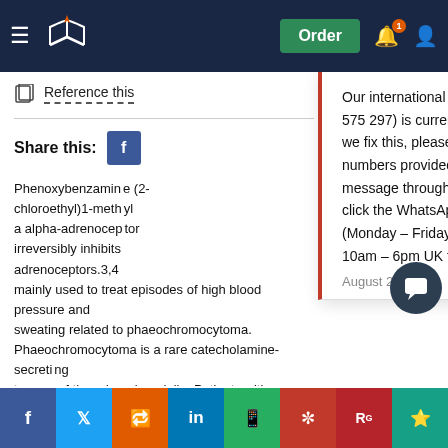Navigation bar with logo, Order button, notification and account icons
Reference this
Share this:
Phenoxybenzamine (chloroethyl)1-methyl a alpha-adrenoceptor irreversibly inhibits adrenoceptors.3,4 mainly used to treat episodes of high blood pressure and sweating related to phaeochromocytoma. Phaeochromocytoma is a rare catecholamine-secreting tumour of the adrenal medulla. Patients with phaeochromocytoma and suffer headache, palpitations, and excessive sweating.3
Our international phone number (+971 600 575 297) is currently out of service. Whilst we fix this, please use the alternative phone numbers provided on the contact page, message through your customer account or click the WhatsApp button from your mobile (Monday – Friday 9am – 5pm, Saturday 10am – 6pm UK time).
August 20, 2022
Social sharing buttons: Facebook, Twitter, Reddit, LinkedIn, WhatsApp, Mendeley, ResearchGate, Teal